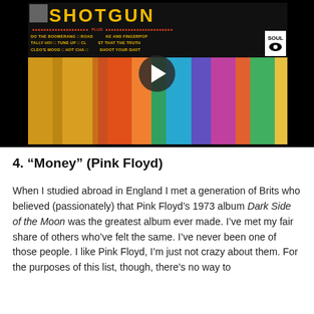[Figure (screenshot): Video thumbnail showing a vinyl album cover for 'Shotgun' with colorful vertical strips and track listing, with a play button overlay in the center.]
4. “Money” (Pink Floyd)
When I studied abroad in England I met a generation of Brits who believed (passionately) that Pink Floyd’s 1973 album Dark Side of the Moon was the greatest album ever made. I’ve met my fair share of others who’ve felt the same. I’ve never been one of those people. I like Pink Floyd, I’m just not crazy about them. For the purposes of this list, though, there’s no way to